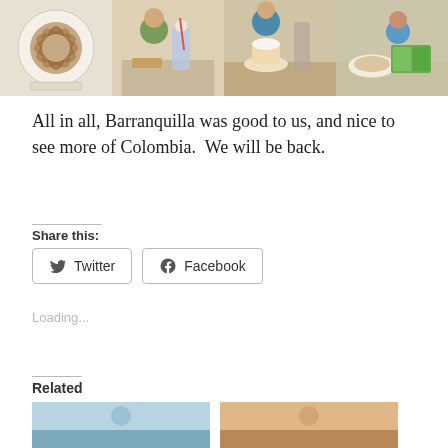[Figure (photo): Four photos in a horizontal strip: a decorative latte art in a cup, a boy at a restaurant with a chocolate milkshake, a child eating a large dessert with a drink, and a child reading a book with a bowl of food.]
All in all, Barranquilla was good to us, and nice to see more of Colombia.  We will be back.
Share this:
Twitter  Facebook
Loading...
Related
[Figure (photo): Two related article thumbnail images at the bottom.]